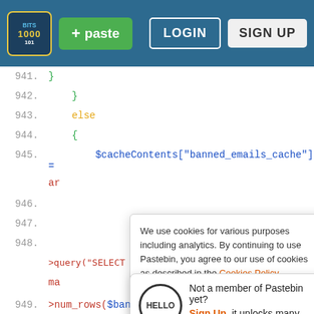[Figure (screenshot): Pastebin website header navigation bar with logo, green paste button, LOGIN and SIGN UP buttons on dark blue background]
941.    }
942.  }
943.  else
944.  {
945.    $cacheContents["banned_emails_cache"] =
ar
946.
947.
948.
>query("SELECT * FROM tsue_in_match WHERE
ma
949.  >num_rows($bannedIPs) )
950.  {
951.    while( $nItem = $TSUE["TSUE_Database"]-
>fetch_assoc($bannedIPs) )
952.  {
We use cookies for various purposes including analytics. By continuing to use Pastebin, you agree to our use of cookies as described in the Cookies Policy.   OK, I Understand
Not a member of Pastebin yet?
Sign Up, it unlocks many cool features!